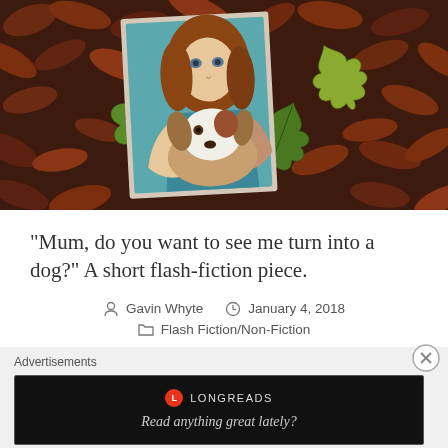[Figure (photo): A painting of a girl with red-brown hair wearing a teal shirt, hugging a dog, placed on a bed of dried autumn leaves with green maple leaves nearby.]
“Mum, do you want to see me turn into a dog?” A short flash-fiction piece.
Gavin Whyte   January 4, 2018   Flash Fiction/Non-Fiction
Advertisements
[Figure (screenshot): Longreads advertisement banner: red circle logo with 'L', text 'LONGREADS', tagline 'Read anything great lately?']